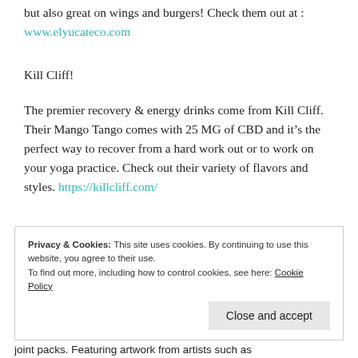but also great on wings and burgers! Check them out at : www.elyucateco.com
Kill Cliff!
The premier recovery & energy drinks come from Kill Cliff. Their Mango Tango comes with 25 MG of CBD and it's the perfect way to recover from a hard work out or to work on your yoga practice. Check out their variety of flavors and styles. https://killcliff.com/
Privacy & Cookies: This site uses cookies. By continuing to use this website, you agree to their use.
To find out more, including how to control cookies, see here: Cookie Policy
Close and accept
joint packs. Featuring artwork from artists such as